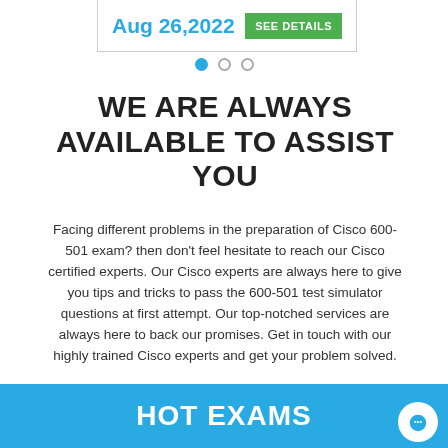Aug 26,2022
SEE DETAILS
WE ARE ALWAYS AVAILABLE TO ASSIST YOU
Facing different problems in the preparation of Cisco 600-501 exam? then don't feel hesitate to reach our Cisco certified experts. Our Cisco experts are always here to give you tips and tricks to pass the 600-501 test simulator questions at first attempt. Our top-notched services are always here to back our promises. Get in touch with our highly trained Cisco experts and get your problem solved.
HOT EXAMS